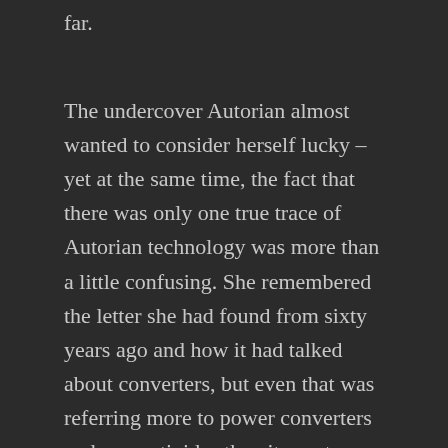far.
The undercover Autorian almost wanted to consider herself lucky – yet at the same time, the fact that there was only one true trace of Autorian technology was more than a little confusing. She remembered the letter she had found from sixty years ago and how it had talked about converters, but even that was referring more to power converters and neo-actinides than it was to anything having to do with the misajour format.
"We can at least safely report that Faust did not suffer any lasting damage from whatever remained of this body's radioactivity," Rouken continued, then took a look toward Esther. "And from what I can tell, nobody has suffered radiation sickness of any kind."